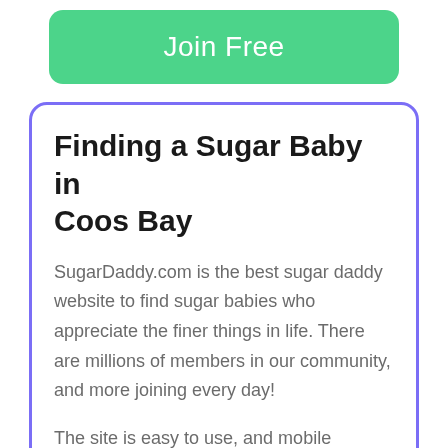[Figure (other): Green rounded rectangle button with white text 'Join Free']
Finding a Sugar Baby in Coos Bay
SugarDaddy.com is the best sugar daddy website to find sugar babies who appreciate the finer things in life. There are millions of members in our community, and more joining every day!
The site is easy to use, and mobile friendly, so there's no need to download an app. This way,